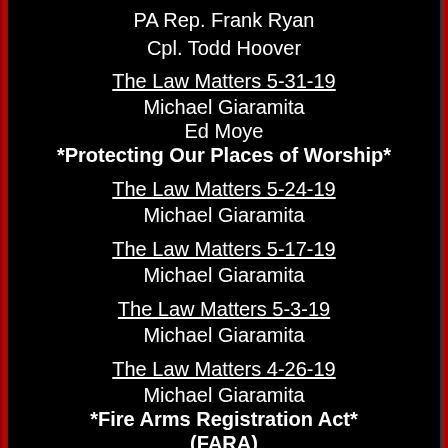PA Rep. Frank Ryan
Cpl. Todd Hoover
The Law Matters 5-31-19
Michael Giaramita
Ed Moye
*Protecting Our Places of Worship*
The Law Matters 5-24-19
Michael Giaramita
The Law Matters 5-17-19
Michael Giaramita
The Law Matters 5-3-19
Michael Giaramita
The Law Matters 4-26-19
Michael Giaramita
*Fire Arms Registration Act*
(FARA)